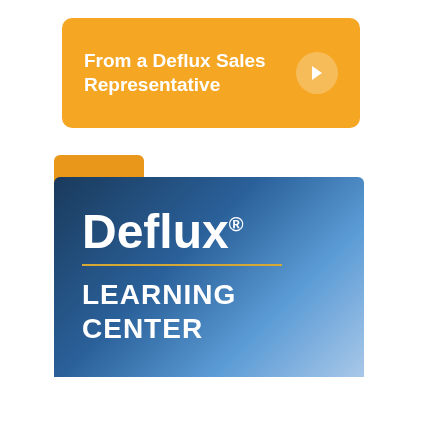[Figure (infographic): Orange button with white bold text 'From a Deflux Sales Representative' and a white right-arrow on the right side]
[Figure (logo): Deflux Learning Center logo: blue gradient rectangle with 'Deflux' in large white bold text with registered trademark, a gold horizontal line, and 'LEARNING CENTER' in white below. A gold accent tab appears at top-left. Bottom orange band reads 'Access the Learning Center' with a white right-arrow.]